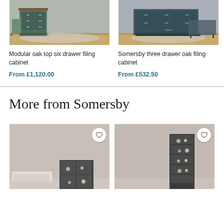[Figure (photo): Photo of modular oak top six drawer filing cabinet in green/teal finish on wood floor]
[Figure (photo): Photo of Somersby three drawer oak filing cabinet in dark teal/slate finish on wood floor]
Modular oak top six drawer filing cabinet
From £1,120.00
Somersby three drawer oak filing cabinet
From £532.50
More from Somersby
[Figure (photo): Photo of small Somersby shelving unit with decorative items, blanket in foreground, neutral background]
[Figure (photo): Photo of tall Somersby shelving unit with decorative items, neutral background]